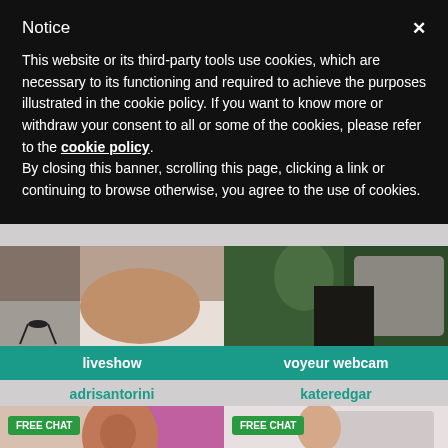Notice
This website or its third-party tools use cookies, which are necessary to its functioning and required to achieve the purposes illustrated in the cookie policy. If you want to know more or withdraw your consent to all or some of the cookies, please refer to the cookie policy. By closing this banner, scrolling this page, clicking a link or continuing to browse otherwise, you agree to the use of cookies.
[Figure (photo): Cropped photo of person on bed with white sheets, wearing heels]
[Figure (photo): Cropped photo of person in black outfit with green plants background]
liveshow
voyeur webcam
adrisantorini
kateredgar
[Figure (photo): FREE CHAT badge. Photo of young woman with dark hair, wearing red accessories, pink chair background]
[Figure (photo): FREE CHAT badge. Photo of young woman with long blonde hair holding white lace, light pink room background]